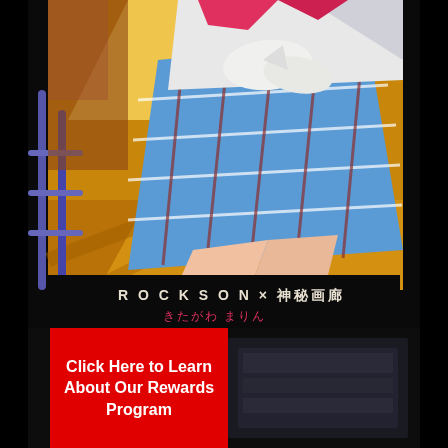[Figure (illustration): Anime illustration showing a female character in a blue plaid skirt and white school uniform top with a bow, set against a school or urban background. Text overlay reads 'ROCKSON × 神秘画廊' and 'きたがわ まりん' in red text.]
Click Here to Learn About Our Rewards Program
[Figure (photo): Dark background photo showing what appears to be a book or printed item in dark tones.]